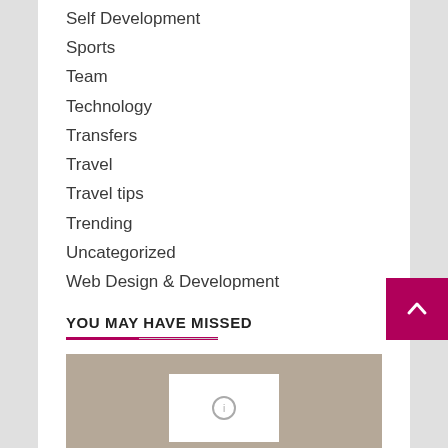Self Development
Sports
Team
Technology
Transfers
Travel
Travel tips
Trending
Uncategorized
Web Design & Development
Wedding
YOU MAY HAVE MISSED
[Figure (photo): A photo thumbnail with a beige/tan background and a white card element with a small circular icon in the center.]